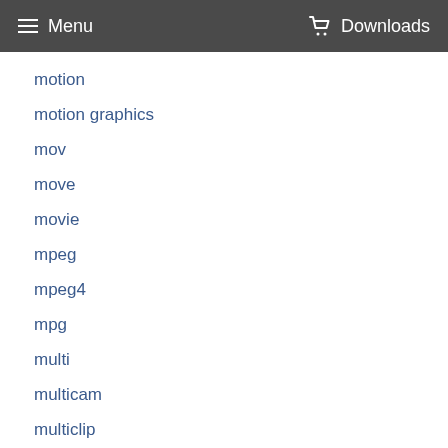Menu  Downloads
motion
motion graphics
mov
move
movie
mpeg
mpeg4
mpg
multi
multicam
multiclip
multiple
news
op-59